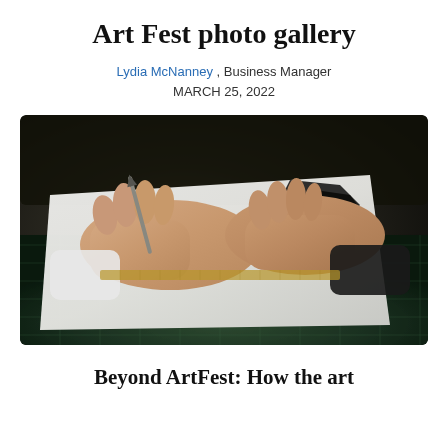Art Fest photo gallery
Lydia McNanney , Business Manager
MARCH 25, 2022
[Figure (photo): Close-up photograph of hands using a craft knife or cutting tool on white paper placed on a green cutting mat, with a black artistic shape visible on the paper.]
Beyond ArtFest: How the art